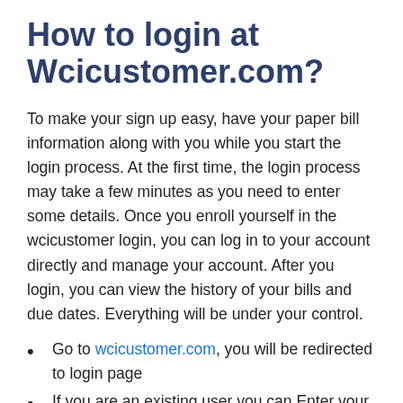How to login at Wcicustomer.com?
To make your sign up easy, have your paper bill information along with you while you start the login process. At the first time, the login process may take a few minutes as you need to enter some details. Once you enroll yourself in the wcicustomer login, you can log in to your account directly and manage your account. After you login, you can view the history of your bills and due dates. Everything will be under your control.
Go to wcicustomer.com, you will be redirected to login page
If you are an existing user you can Enter your user Id and Password to the